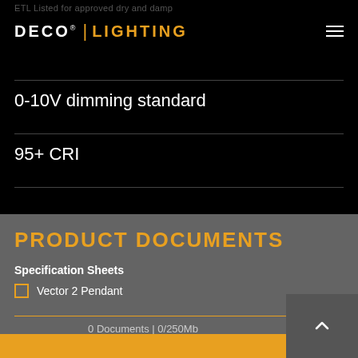ETL Listed for approved dry and damp
[Figure (logo): DECO LIGHTING logo with registered trademark symbol, orange pipe divider, white DECO text and orange LIGHTING text, hamburger menu icon on right]
0-10V dimming standard
95+ CRI
PRODUCT DOCUMENTS
Specification Sheets
Vector 2 Pendant
0 Documents | 0/250Mb